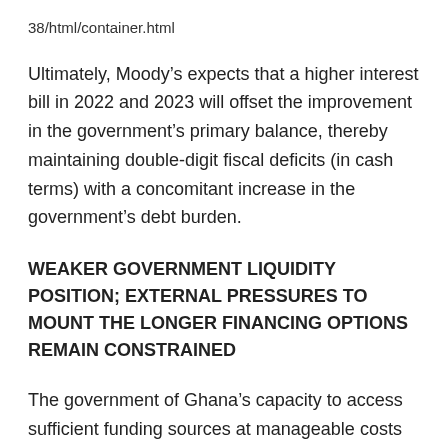38/html/container.html
Ultimately, Moody’s expects that a higher interest bill in 2022 and 2023 will offset the improvement in the government’s primary balance, thereby maintaining double-digit fiscal deficits (in cash terms) with a concomitant increase in the government’s debt burden.
WEAKER GOVERNMENT LIQUIDITY POSITION; EXTERNAL PRESSURES TO MOUNT THE LONGER FINANCING OPTIONS REMAIN CONSTRAINED
The government of Ghana’s capacity to access sufficient funding sources at manageable costs to meet large funding needs has deteriorated. The government’s external funding options have narrowed and, for the time